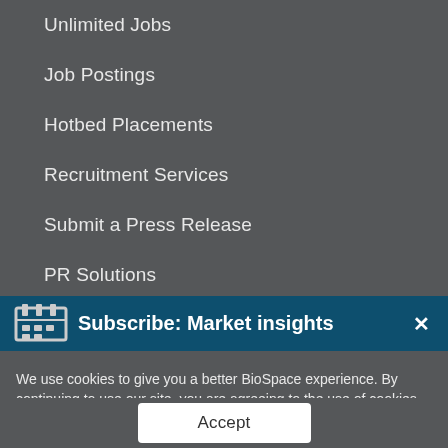Unlimited Jobs
Job Postings
Hotbed Placements
Recruitment Services
Submit a Press Release
PR Solutions
Employer Insights
Subscribe: Market insights
We use cookies to give you a better BioSpace experience. By continuing to use our site, you are agreeing to the use of cookies as set in our Privacy Policy.
Accept